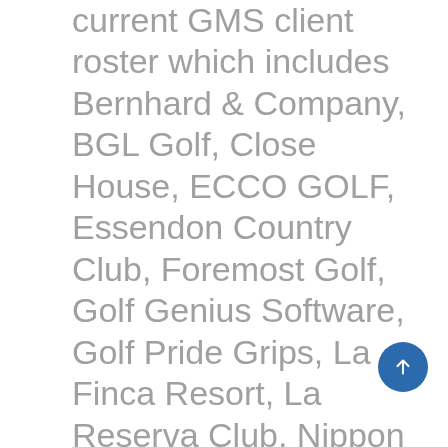current GMS client roster which includes Bernhard & Company, BGL Golf, Close House, ECCO GOLF, Essendon Country Club, Foremost Golf, Golf Genius Software, Golf Pride Grips, La Finca Resort, La Reserva Club, Nippon Shaft, Shot Scope Technologies, Toptracer, PING, PING Apparel, Prince's Golf Club, Royal Lytham & St Anne's Golf Club and Sotogrande SA, among others.